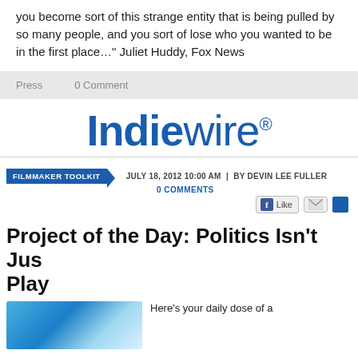you become sort of this strange entity that is being pulled by so many people, and you sort of lose who you wanted to be in the first place…" Juliet Huddy, Fox News
Press   0 Comment
[Figure (logo): IndieWire logo in bold blue text with registered trademark symbol]
FILMMAKER TOOLKIT   JULY 18, 2012 10:00 AM | BY DEVIN LEE FULLER   0 COMMENTS
Project of the Day: Politics Isn't Just Play
Here's your daily dose of a